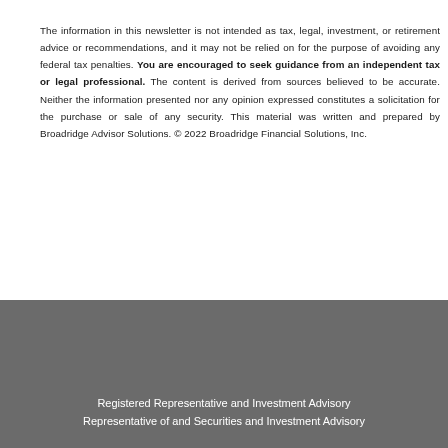The information in this newsletter is not intended as tax, legal, investment, or retirement advice or recommendations, and it may not be relied on for the purpose of avoiding any federal tax penalties. You are encouraged to seek guidance from an independent tax or legal professional. The content is derived from sources believed to be accurate. Neither the information presented nor any opinion expressed constitutes a solicitation for the purchase or sale of any security. This material was written and prepared by Broadridge Advisor Solutions. © 2022 Broadridge Financial Solutions, Inc.
Registered Representative and Investment Advisory Representative of and Securities and Investment Advisory